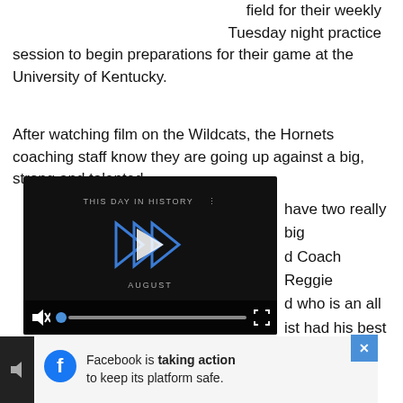field for their weekly Tuesday night practice session to begin preparations for their game at the University of Kentucky.
After watching film on the Wildcats, the Hornets coaching staff know they are going up against a big, strong and talented [...]  have two really big [...] Coach Reggie [...] who is an all [...] just had his best game of the season (at Mississippi State)."
[Figure (screenshot): Embedded video player with dark background showing 'THIS DAY IN HISTORY' label, blue double-play icon, play button triangle, 'AUGUST' month label at bottom, muted speaker icon, blue progress dot, seek bar, and fullscreen icon.]
[Figure (screenshot): Advertisement banner: Facebook logo with text 'Facebook is taking action to keep its platform safe.' with close X button in blue.]